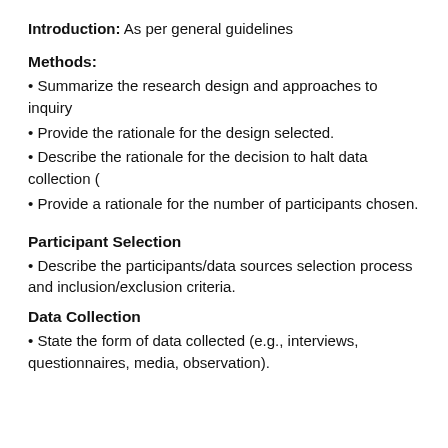Introduction: As per general guidelines
Methods:
• Summarize the research design and approaches to inquiry
• Provide the rationale for the design selected.
• Describe the rationale for the decision to halt data collection (
• Provide a rationale for the number of participants chosen.
Participant Selection
• Describe the participants/data sources selection process and inclusion/exclusion criteria.
Data Collection
• State the form of data collected (e.g., interviews, questionnaires, media, observation).